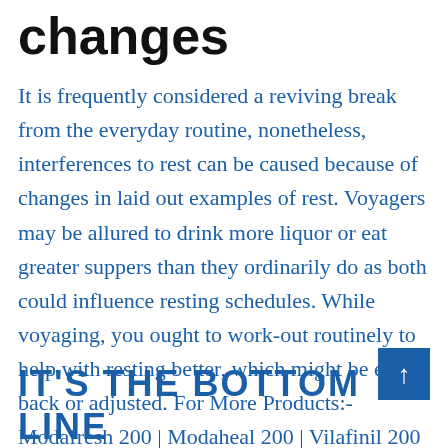changes
It is frequently considered a reviving break from the everyday routine, nonetheless, interferences to rest can be caused because of changes in laid out examples of rest. Voyagers may be allured to drink more liquor or eat greater suppers than they ordinarily do as both could influence resting schedules. While voyaging, you ought to work-out routinely to help with resting better, which might be eased back or adjusted. For More Products:- Modafresh 200 | Modaheal 200 | Vilafinil 200
IT'S THE BOTTOM LINE